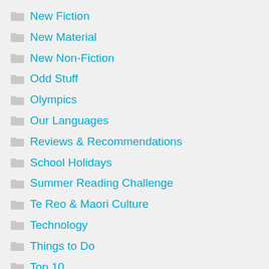New Fiction
New Material
New Non-Fiction
Odd Stuff
Olympics
Our Languages
Reviews & Recommendations
School Holidays
Summer Reading Challenge
Te Reo & Maori Culture
Technology
Things to Do
Top 10